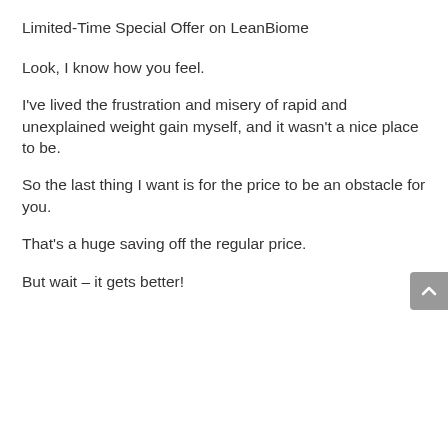Limited-Time Special Offer on LeanBiome
Look, I know how you feel.
I've lived the frustration and misery of rapid and unexplained weight gain myself, and it wasn't a nice place to be.
So the last thing I want is for the price to be an obstacle for you.
That's a huge saving off the regular price.
But wait – it gets better!